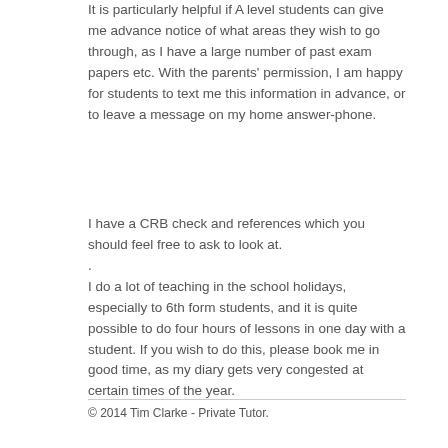It is particularly helpful if A level students can give me advance notice of what areas they wish to go through, as I have a large number of past exam papers etc. With the parents' permission, I am happy for students to text me this information in advance, or to leave a message on my home answer-phone.
I have a CRB check and references which you should feel free to ask to look at.
.
I do a lot of teaching in the school holidays, especially to 6th form students, and it is quite possible to do four hours of lessons in one day with a student. If you wish to do this, please book me in good time, as my diary gets very congested at certain times of the year.
© 2014 Tim Clarke - Private Tutor.